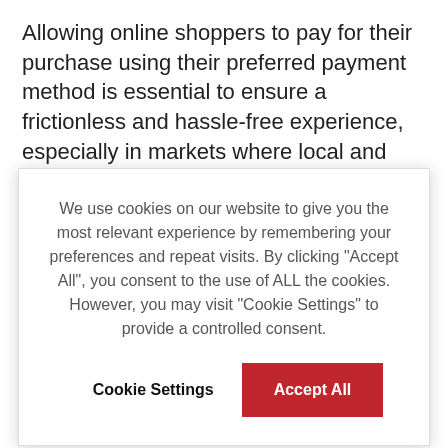Allowing online shoppers to pay for their purchase using their preferred payment method is essential to ensure a frictionless and hassle-free experience, especially in markets where local and alternative options are very popular. In the Netherlands, for
We use cookies on our website to give you the most relevant experience by remembering your preferences and repeat visits. By clicking “Accept All”, you consent to the use of ALL the cookies. However, you may visit “Cookie Settings” to provide a controlled consent.
options in each market and the ability to offer this flexibility at checkout.
International shoppers should have confidence that if an item isn’t suitable, they can send it back hassle-free. In many cases international shoppers